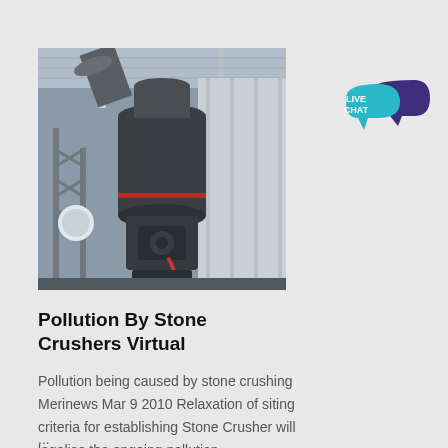[Figure (photo): Industrial stone crusher machine inside a factory building. A large dark cylindrical grinding mill with conveyor pipes and structural scaffolding visible in the background under a corrugated metal roof.]
[Figure (illustration): Live Chat button: a teal speech bubble with white text 'LIVE CHAT' and a dark purple speech bubble overlapping behind it.]
Pollution By Stone Crushers Virtual
Pollution being caused by stone crushing Merinews Mar 9 2010 Relaxation of siting criteria for establishing Stone Crusher will legalise the ongoing pollution ...